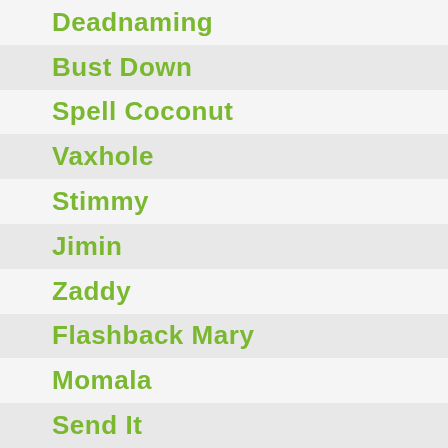Deadnaming
Bust Down
Spell Coconut
Vaxhole
Stimmy
Jimin
Zaddy
Flashback Mary
Momala
Send It